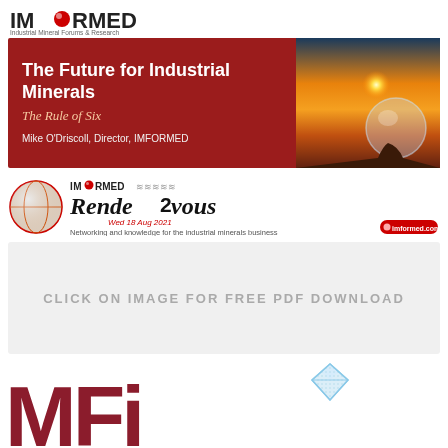[Figure (logo): IMFORMED logo - Industrial Mineral Forums & Research with red orb]
[Figure (illustration): Red banner with title 'The Future for Industrial Minerals - The Rule of Six' by Mike O'Driscoll, Director, IMFORMED; right side shows photo of sunset with crystal ball]
[Figure (logo): IMFORMED Rendezvous logo with circular globe image, stylized Rendezvous text, date Wed 18 Aug 2021, tagline and imformed.com url]
CLICK ON IMAGE FOR FREE PDF DOWNLOAD
[Figure (logo): Large dark red MFi letters logo with small diamond icon above]